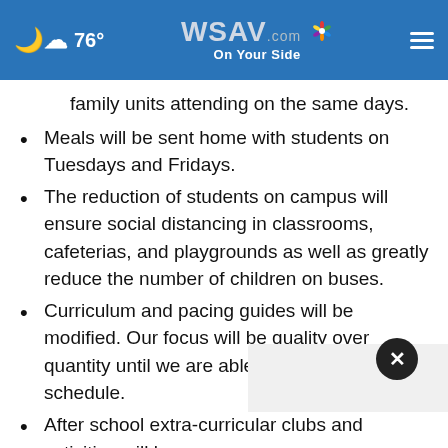76° | WSAV.com On Your Side
family units attending on the same days.
Meals will be sent home with students on Tuesdays and Fridays.
The reduction of students on campus will ensure social distancing in classrooms, cafeterias, and playgrounds as well as greatly reduce the number of children on buses.
Curriculum and pacing guides will be modified. Our focus will be quality over quantity until we are able to return to a full schedule.
After school extra-curricular clubs and activities will be s…